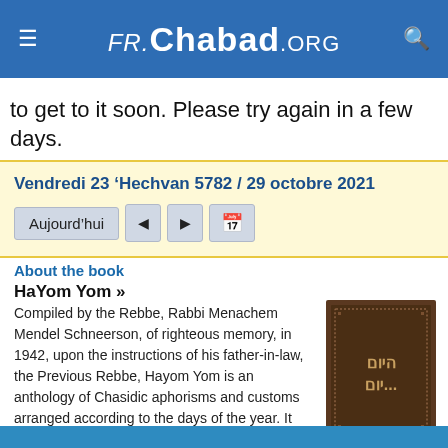FR.Chabad.ORG
to get to it soon. Please try again in a few days.
Vendredi 23 'Hechvan 5782 / 29 octobre 2021 — Aujourd'hui [nav buttons]
About the book
HaYom Yom »
Compiled by the Rebbe, Rabbi Menachem Mendel Schneerson, of righteous memory, in 1942, upon the instructions of his father-in-law, the Previous Rebbe, Hayom Yom is an anthology of Chasidic aphorisms and customs arranged according to the days of the year. It has since become a beloved classic work and a source of daily inspiration.
[Figure (illustration): Dark brown book cover with Hebrew text reading HaYom Yom]